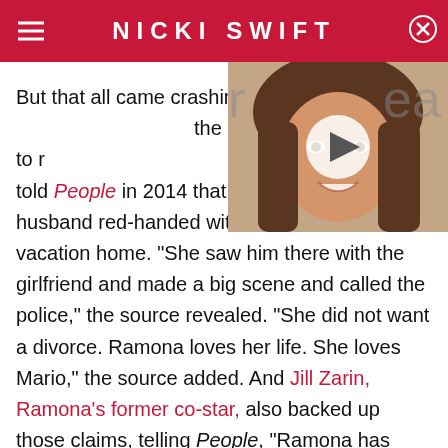NICKI SWIFT
[Figure (photo): Video thumbnail showing a smiling woman with long brown hair, with a play button overlay. Part of a celebrity news article.]
But that all came crashing down when the couple separated due to repeated infidelity on Mario's part. A source told People in 2014 that Ramona caught her husband red-handed with his mistress at their vacation home. "She saw him there with the girlfriend and made a big scene and called the police," the source revealed. "She did not want a divorce. Ramona loves her life. She loves Mario," the source added. And Jill Zarin, Ramona's former co-star, also backed up those claims, telling People, "Ramona has been protecting him. She looked the other way when